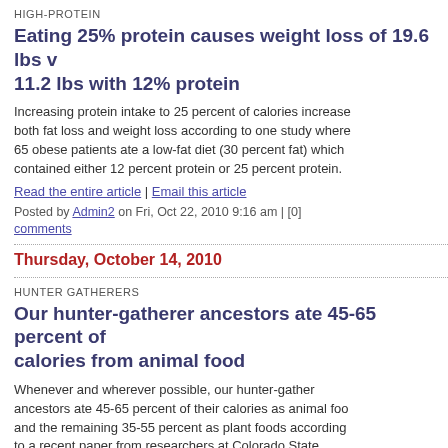HIGH-PROTEIN
Eating 25% protein causes weight loss of 19.6 lbs vs 11.2 lbs with 12% protein
Increasing protein intake to 25 percent of calories increases both fat loss and weight loss according to one study where 65 obese patients ate a low-fat diet (30 percent fat) which contained either 12 percent protein or 25 percent protein.
Read the entire article | Email this article
Posted by Admin2 on Fri, Oct 22, 2010 9:16 am | [0] comments
Thursday, October 14, 2010
HUNTER GATHERERS
Our hunter-gatherer ancestors ate 45-65 percent of calories from animal food
Whenever and wherever possible, our hunter-gather ancestors ate 45-65 percent of their calories as animal food and the remaining 35-55 percent as plant foods according to a recent paper from researchers at Colorado State University. Read the entire article | Email this article